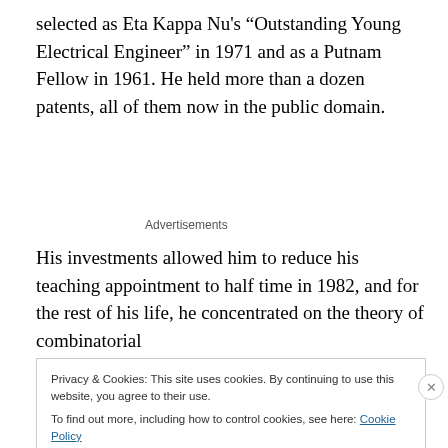selected as Eta Kappa Nu's “Outstanding Young Electrical Engineer” in 1971 and as a Putnam Fellow in 1961. He held more than a dozen patents, all of them now in the public domain.
Advertisements
His investments allowed him to reduce his teaching appointment to half time in 1982, and for the rest of his life, he concentrated on the theory of combinatorial
Privacy & Cookies: This site uses cookies. By continuing to use this website, you agree to their use.
To find out more, including how to control cookies, see here: Cookie Policy